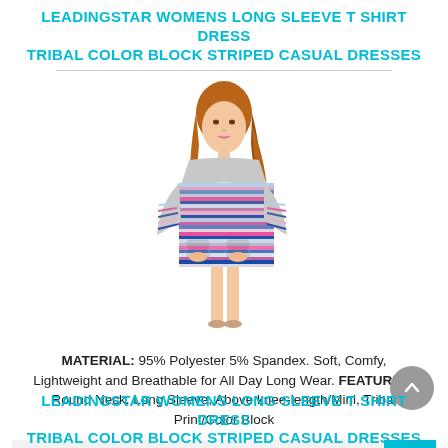LEADINGSTAR WOMENS LONG SLEEVE T SHIRT DRESS TRIBAL COLOR BLOCK STRIPED CASUAL DRESSES
[Figure (photo): Woman wearing a tribal color block striped long sleeve t-shirt dress with round neck and above knee length, posing against white background]
MATERIAL: 95% Polyester 5% Spandex. Soft, Comfy, Lightweight and Breathable for All Day Long Wear. FEATURES: Round Neck, Long Sleeve, Above knee-length/Mini, Tribal Print/Color Block
£8.12
LEADINGSTAR WOMENS LONG SLEEVE T SHIRT DRESS TRIBAL COLOR BLOCK STRIPED CASUAL DRESSES